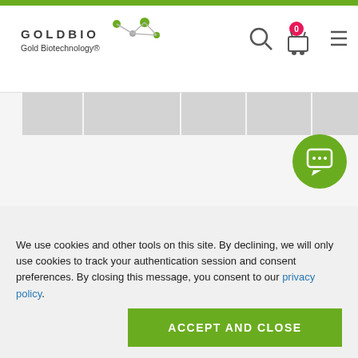GOLDBIO Gold Biotechnology®
[Figure (screenshot): Partial table row with grey cells, cropped at top of main content area]
[Figure (other): Green circular chat/message button icon in top right area]
CONTACT US
314.890.8778
We use cookies and other tools on this site. By declining, we will only use cookies to track your authentication session and consent preferences. By closing this message, you consent to our privacy policy.
[Figure (other): Green ACCEPT AND CLOSE button]
[Figure (other): Dark grey circular scroll-to-top button with upward chevron]